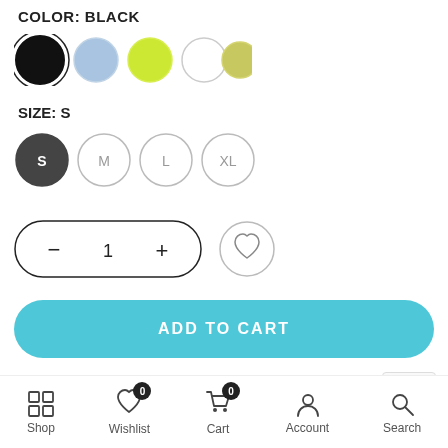COLOR: BLACK
[Figure (illustration): Color swatches: black (selected), blue, lime green, white, olive/yellow]
SIZE: S
[Figure (illustration): Size selector buttons: S (selected/dark), M, L, XL]
[Figure (illustration): Quantity control with minus, 1, plus buttons in rounded pill; heart/wishlist circle button]
ADD TO CART
Ask a Question
SKU: CGAKS001
Shop  Wishlist  Cart  Account  Search